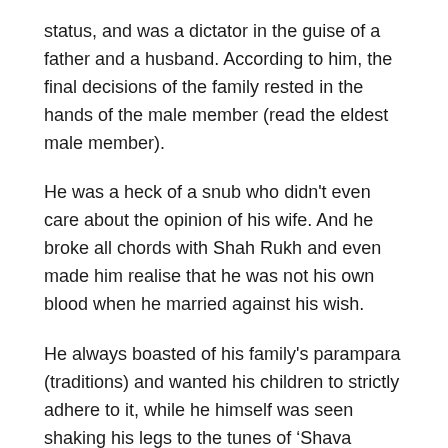status, and was a dictator in the guise of a father and a husband. According to him, the final decisions of the family rested in the hands of the male member (read the eldest male member).
He was a heck of a snub who didn't even care about the opinion of his wife. And he broke all chords with Shah Rukh and even made him realise that he was not his own blood when he married against his wish.
He always boasted of his family's parampara (traditions) and wanted his children to strictly adhere to it, while he himself was seen shaking his legs to the tunes of ‘Shava Shava’ with young, scantily dressed female dancers. Maybe seeing those beauties he forgot his ‘parivaar ki parampara’ for a while.
#5 Gangs Of Wasseypur